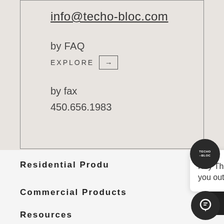info@techo-bloc.com
by FAQ
EXPLORE →
by fax
450.656.1983
[Figure (screenshot): Techo-Bloc chat widget icon and popup dialog with message: Hey There, We're happy to help you out.]
Residential Products
Commercial Products
Resources